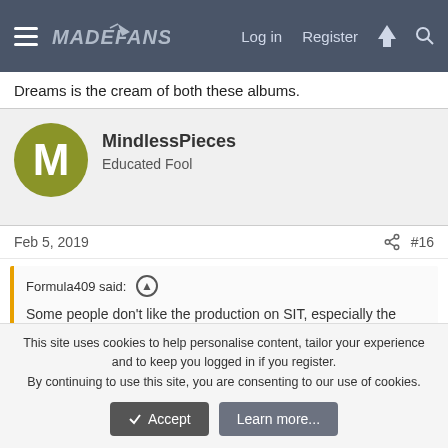MadeFans — Log in | Register
Dreams is the cream of both these albums.
MindlessPieces
Educated Fool
Feb 5, 2019   #16
Formula409 said: Some people don't like the production on SIT, especially the guitars, which have that 80's chorus+delay sound. I for one really like it. To my ears the sound is sort of retro futuristic, in lack of a better term. A product of it's time for sure, but a really well made one.
It's also the production on the vocals that is a big issue. The
This site uses cookies to help personalise content, tailor your experience and to keep you logged in if you register.
By continuing to use this site, you are consenting to our use of cookies.